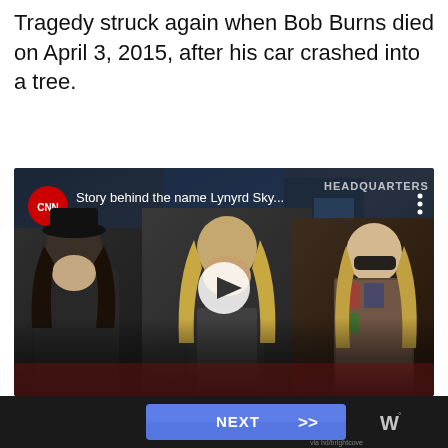Tragedy struck again when Bob Burns died on April 3, 2015, after his car crashed into a tree.
[Figure (screenshot): CNN video thumbnail showing three members of Lynyrd Skynyrd sitting on a couch during an interview. The video title reads 'Story behind the name Lynyrd Sky...' with CNN logo badge and a play button in the center.]
[Figure (other): Bottom navigation bar with a blue NEXT button with double chevron arrows, on a dark background, with a W logo watermark on the right.]